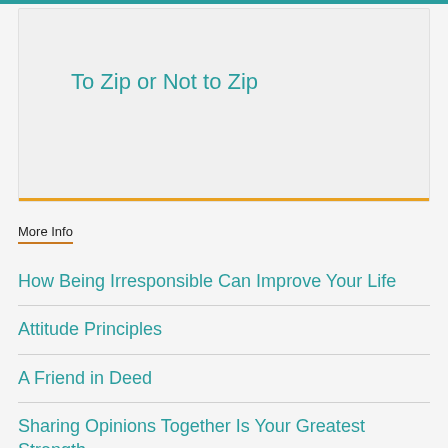To Zip or Not to Zip
More Info
How Being Irresponsible Can Improve Your Life
Attitude Principles
A Friend in Deed
Sharing Opinions Together Is Your Greatest Strength